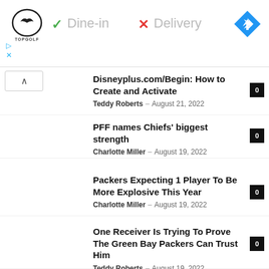[Figure (screenshot): Topgolf advertisement banner with logo, Dine-in checkmark, Delivery X mark, and navigation icon]
Disneyplus.com/Begin: How to Create and Activate
Teddy Roberts - August 21, 2022 0
PFF names Chiefs' biggest strength
Charlotte Miller - August 19, 2022 0
Packers Expecting 1 Player To Be More Explosive This Year
Charlotte Miller - August 19, 2022 0
One Receiver Is Trying To Prove The Green Bay Packers Can Trust Him
Teddy Roberts - August 19, 2022 0